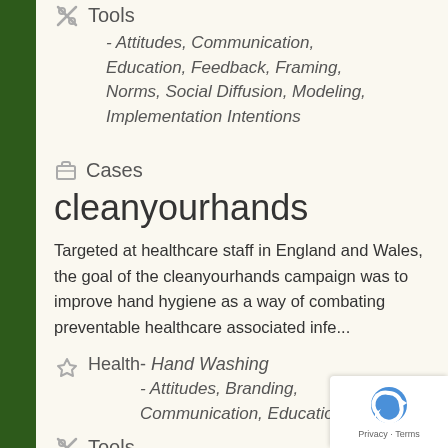Tools - Attitudes, Communication, Education, Feedback, Framing, Norms, Social Diffusion, Modeling, Implementation Intentions
Cases
cleanyourhands
Targeted at healthcare staff in England and Wales, the goal of the cleanyourhands campaign was to improve hand hygiene as a way of combating preventable healthcare associated infe...
Health- Hand Washing - Attitudes, Branding, Communication, Education, Framing,
Tools